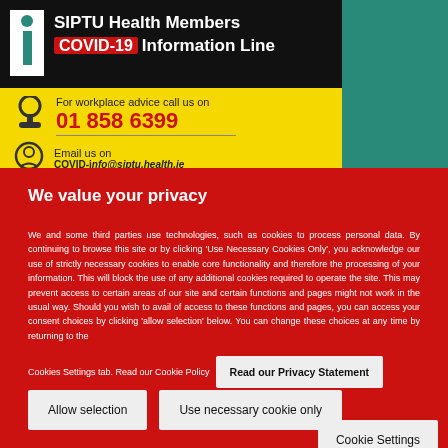[Figure (infographic): SIPTU Health Members COVID-19 Information Line banner with phone and email contact details on yellow background]
We value your privacy
We and some third parties use technologies, such as cookies to process personal data. By continuing to browse this site or by clicking 'Use Necessary Cookies Only', you acknowledge our use of strictly necessary cookies to enable core functionality and therefore the processing of your information. This will block the use of any additional cookies required to operate the site. This may prevent access to certain areas of our site and certain functions and pages might not work in the usual way. Should you wish to avail of access to these functions and pages, you can access your consent choices by clicking 'allow selection' below. You can change these choices at any time by returning to the Cookies Settings tab. Read our Cookie Policy
Read our Privacy Statement
Allow selection
Use necessary cookie only
Cookie Settings